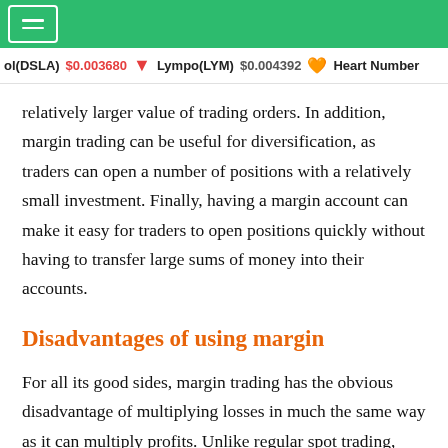ol(DSLA) $0.003680  Lympo(LYM) $0.004392  Heart Number
relatively larger value of trading orders. In addition, margin trading can be useful for diversification, as traders can open a number of positions with a relatively small investment. Finally, having a margin account can make it easy for traders to open positions quickly without having to transfer large sums of money into their accounts.
Disadvantages of using margin
For all its good sides, margin trading has the obvious disadvantage of multiplying losses in much the same way as it can multiply profits. Unlike regular spot trading, margin trading has the potential for losses that exceed the trader's initial investment and, as such, is considered a high-risk trading method. Depending on the amount of leverage involved in a